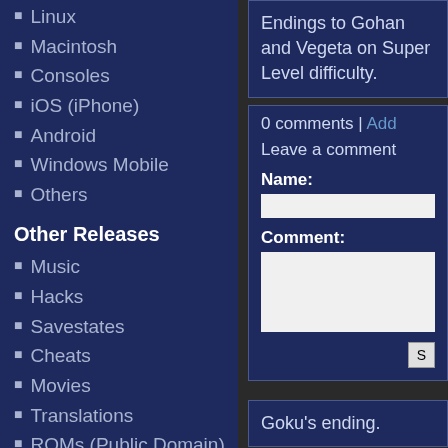Linux
Macintosh
Consoles
iOS (iPhone)
Android
Windows Mobile
Others
Other Releases
Music
Hacks
Savestates
Cheats
Movies
Translations
ROMs (Public Domain)
Frontends
Technical Documents
Utilities
Endings to Gohan and Vegeta on Super Level difficulty.
0 comments | Add
Leave a comment
Name:
Comment:
Goku's ending.